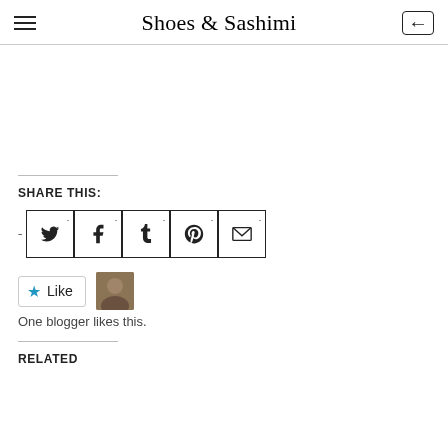Shoes & Sashimi
SHARE THIS:
[Figure (other): Social sharing buttons: Twitter, Facebook, Tumblr, Pinterest, Email]
One blogger likes this.
RELATED